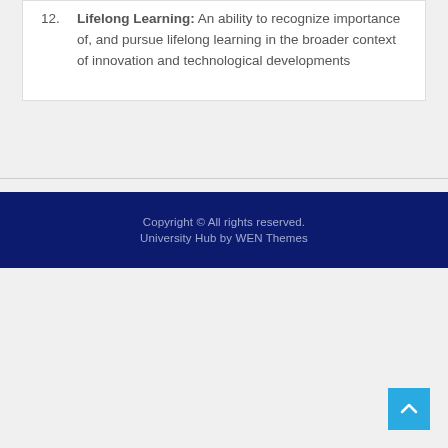12. Lifelong Learning: An ability to recognize importance of, and pursue lifelong learning in the broader context of innovation and technological developments
Copyright © All rights reserved. University Hub by WEN Themes